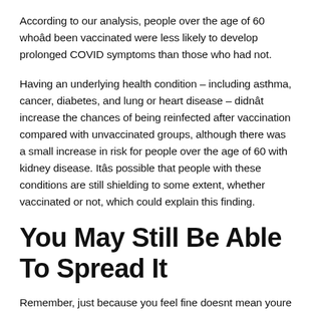According to our analysis, people over the age of 60 whoâd been vaccinated were less likely to develop prolonged COVID symptoms than those who had not.
Having an underlying health condition – including asthma, cancer, diabetes, and lung or heart disease – didnât increase the chances of being reinfected after vaccination compared with unvaccinated groups, although there was a small increase in risk for people over the age of 60 with kidney disease. Itâs possible that people with these conditions are still shielding to some extent, whether vaccinated or not, which could explain this finding.
You May Still Be Able To Spread It
Remember, just because you feel fine doesnt mean youre in